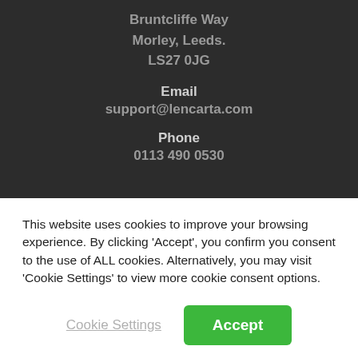Bruntcliffe Way
Morley, Leeds.
LS27 0JG
Email
support@lencarta.com
Phone
0113 490 0530
This website uses cookies to improve your browsing experience. By clicking 'Accept', you confirm you consent to the use of ALL cookies. Alternatively, you may visit 'Cookie Settings' to view more cookie consent options.
Cookie Settings
Accept